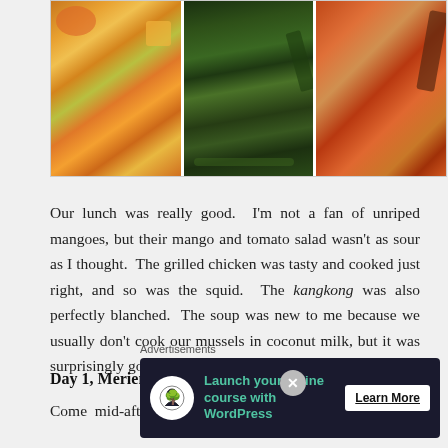[Figure (photo): Three food photos side by side: left shows a plate with diced vegetables and meat (mango tomato salad with grilled chicken), center shows blanched kangkong (water spinach) on a white plate, right shows a stir-fried rice or grain dish with a wooden spoon.]
Our lunch was really good.  I'm not a fan of unriped mangoes, but their mango and tomato salad wasn't as sour as I thought.  The grilled chicken was tasty and cooked just right, and so was the squid.  The kangkong was also perfectly blanched.  The soup was new to me because we usually don't cook our mussels in coconut milk, but it was surprisingly good.
Day 1, Merienda (PM Snacks)
Come mid-afternoon, after our swim, the owners
Advertisements
[Figure (infographic): Advertisement banner with dark navy background showing a tree/person icon in a white circle, teal text reading 'Launch your online course with WordPress', and a 'Learn More' button with underline. A close (X) button appears at top right of the banner.]